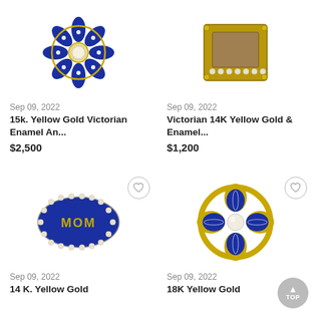[Figure (photo): 15k Yellow Gold Victorian Enamel blue floral brooch with diamond-like center]
[Figure (photo): Victorian 14K Yellow Gold & Enamel rectangular brooch with pearls]
Sep 09, 2022
15k. Yellow Gold Victorian Enamel An...
$2,500
Sep 09, 2022
Victorian 14K Yellow Gold & Enamel...
$1,200
[Figure (photo): 14K Yellow Gold MOM oval brooch with seed pearls border on blue enamel]
[Figure (photo): 18K Yellow Gold blue enamel flower brooch with pearl center]
Sep 09, 2022
14 K. Yellow Gold
Sep 09, 2022
18K Yellow Gold